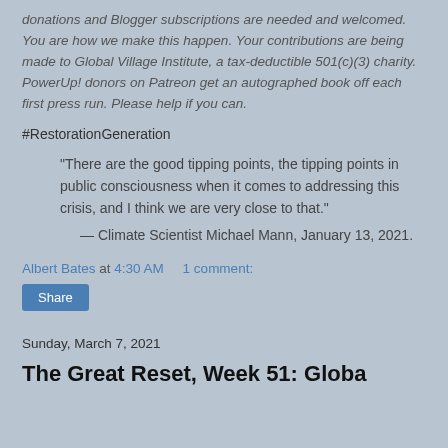donations and Blogger subscriptions are needed and welcomed. You are how we make this happen. Your contributions are being made to Global Village Institute, a tax-deductible 501(c)(3) charity. PowerUp! donors on Patreon get an autographed book off each first press run. Please help if you can.
#RestorationGeneration
“There are the good tipping points, the tipping points in public consciousness when it comes to addressing this crisis, and I think we are very close to that.”
— Climate Scientist Michael Mann, January 13, 2021.
Albert Bates at 4:30 AM    1 comment:
Share
Sunday, March 7, 2021
The Great Reset, Week 51: Globa...